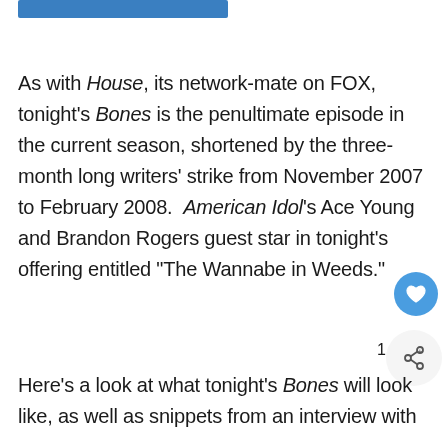[Figure (other): Partial blue header image cropped at top of page]
As with House, its network-mate on FOX, tonight's Bones is the penultimate episode in the current season, shortened by the three-month long writers' strike from November 2007 to February 2008.  American Idol's Ace Young and Brandon Rogers guest star in tonight's offering entitled “The Wannabe in Weeds.”
Here’s a look at what tonight’s Bones will look like, as well as snippets from an interview with